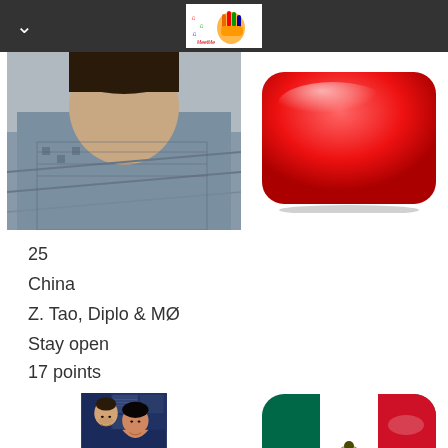[Figure (photo): Profile photo of a person wearing a scarf/shawl, selfie-style, grayscale/muted tones]
[Figure (illustration): Glossy red rounded-rectangle button/icon]
25
China
Z. Tao, Diplo & MØ
Stay open
17 points
[Figure (photo): Two people smiling for a selfie in front of screens/monitors]
[Figure (illustration): Glossy Mexico flag icon (green, white, red stripes with coat of arms) on rounded-rectangle]